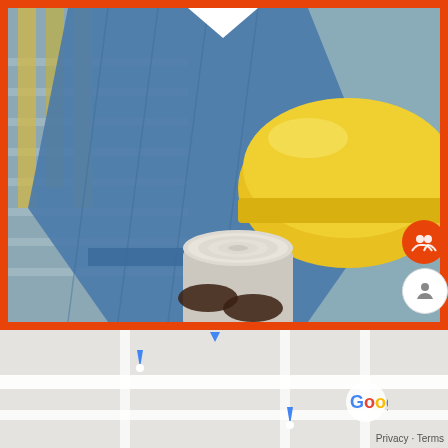[Figure (photo): Construction worker in denim jacket holding a yellow hard hat and rolled blueprints, standing at a construction site. Photo is framed with an orange border. Two circular icon buttons visible on the right edge — one orange with a group/people icon, one white with a person/profile icon.]
[Figure (screenshot): Google Maps screenshot showing location markers for The Home Depot, Northern Tool + Equipment, and Walmart Supercenter. Includes an orange upload button top-right, a red accessibility icon circle bottom-left, and Privacy/Terms text bottom-right.]
The Home Depot
Northern Tool + Equipment
Walmart Supercenter
Privacy · Terms